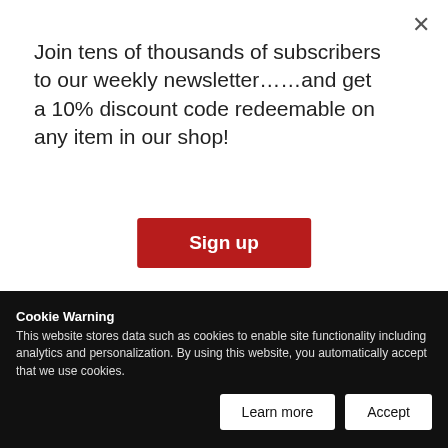Join tens of thousands of subscribers to our weekly newsletter……and get a 10% discount code redeemable on any item in our shop!
Sign up
COVID-19
Aug. 24, 2020
by Babak Babali
/ INDIA
Cookie Warning
This website stores data such as cookies to enable site functionality including analytics and personalization. By using this website, you automatically accept that we use cookies.
Learn more
Accept